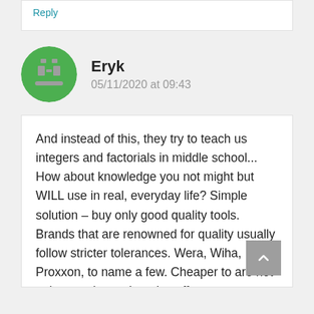Reply
Eryk
05/11/2020 at 09:43
And instead of this, they try to teach us integers and factorials in middle school... How about knowledge you not might but WILL use in real, everyday life? Simple solution – buy only good quality tools. Brands that are renowned for quality usually follow stricter tolerances. Wera, Wiha, Proxxon, to name a few. Cheaper to are not only more loose, but also offer worse material that leads to quicker